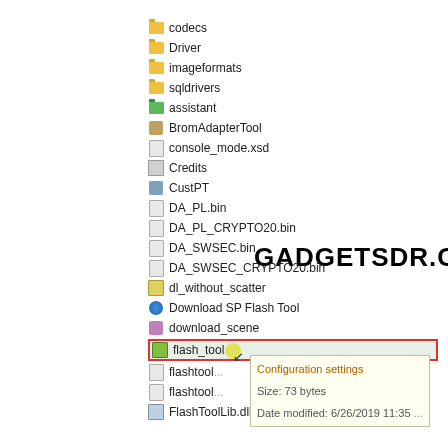[Figure (screenshot): Windows file explorer showing a list of files and folders including codecs, Driver, imageformats, sqldrivers (yellow folders), assistant (green folder), BromAdapterTool, console_mode.xsd, Credits, CustPT, DA_PL.bin, DA_PL_CRYPTO20.bin, DA_SWSEC.bin, DA_SWSEC_CRYPTO20.bin, dl_without_scatter, Download SP Flash Tool, download_scene, flash_tool (highlighted with red border), flashtool files, FlashToolLib.dll. A tooltip shows 'Configuration settings / Size: 73 bytes / Date modified: 6/26/2019 11:35'. Watermark text GADGETSDR.COM overlaid on the image.]